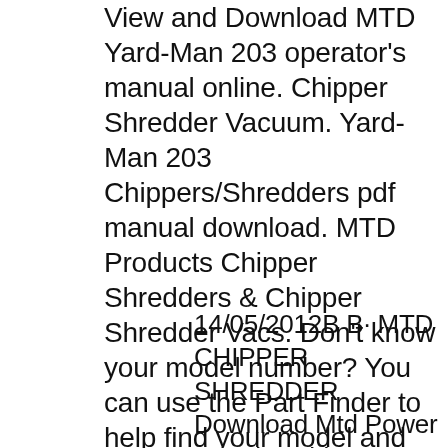View and Download MTD Yard-Man 203 operator's manual online. Chipper Shredder Vacuum. Yard-Man 203 Chippers/Shredders pdf manual download. MTD Products Chipper Shredders & Chipper Shredder Vacs. Don't know your model number? You can use the Part Finder to help find your model and the right part for your machine.
14/05/2012B B· MTD CHIPPER SHREDDER Download Mtd Power Pro 5hp Chipper Manual - prestigiousquotes.com book pdf free download link or read online here in PDF. Read online Mtd Power Pro 5hp Chipper